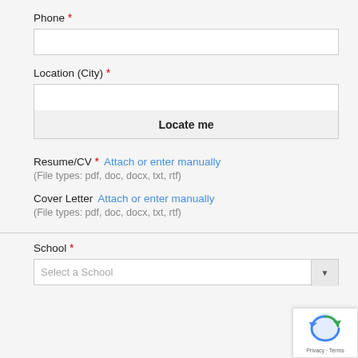Phone *
Location (City) *
Locate me
Resume/CV * Attach or enter manually
(File types: pdf, doc, docx, txt, rtf)
Cover Letter Attach or enter manually
(File types: pdf, doc, docx, txt, rtf)
School *
Select a School